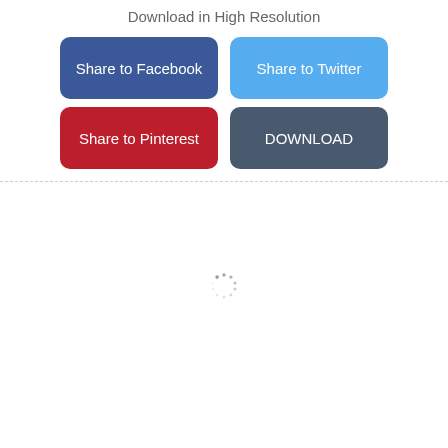Download in High Resolution
[Figure (screenshot): Four action buttons: Share to Facebook (blue), Share to Twitter (light blue), Share to Pinterest (red), DOWNLOAD (dark grey-blue)]
[Figure (other): Loading spinner icon (circular dashed ring) centered in the lower portion of the page]